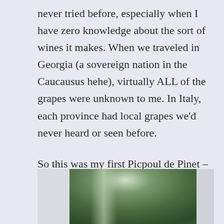never tried before, especially when I have zero knowledge about the sort of wines it makes. When we traveled in Georgia (a sovereign nation in the Caucausus hehe), virtually ALL of the grapes were unknown to me. In Italy, each province had local grapes we'd never heard or seen before.
So this was my first Picpoul de Pinet – a white from southern France. (That's about all I knew.) What would it taste like? Would it be aromatic? More like Chardonnay or more like Sauvignon Blanc or more like a Viognier?
[Figure (photo): Bottom portion of a dark green wine bottle, partially visible, cropped at edges. Light background visible on sides.]